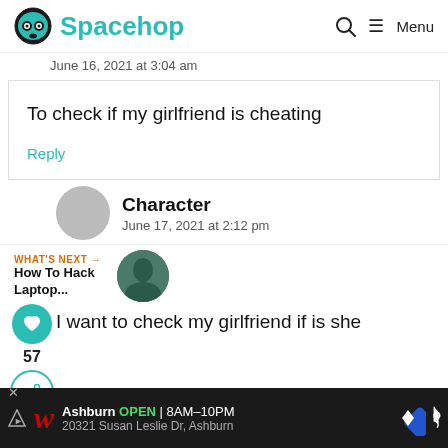Spacehop | Menu
June 16, 2021 at 3:04 am
To check if my girlfriend is cheating
Reply
57
Character
June 17, 2021 at 2:12 pm
WHAT'S NEXT → How To Hack Laptop...
I want to check my girlfriend if is she
Ashburn OPEN 8AM–10PM 20321 Susan Leslie Dr, Ashburn